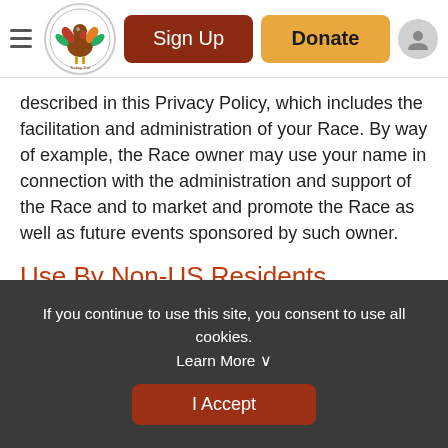Sign Up | Donate
described in this Privacy Policy, which includes the facilitation and administration of your Race. By way of example, the Race owner may use your name in connection with the administration and support of the Race and to market and promote the Race as well as future events sponsored by such owner.
Use By Non-US Residents
The Site is operated in the United States under United States law. We do not intentionally offer goods and services to individuals outside of the United States. If you reside in another country, please be aware that any information you
If you continue to use this site, you consent to use all cookies. Learn More ∨
I Accept